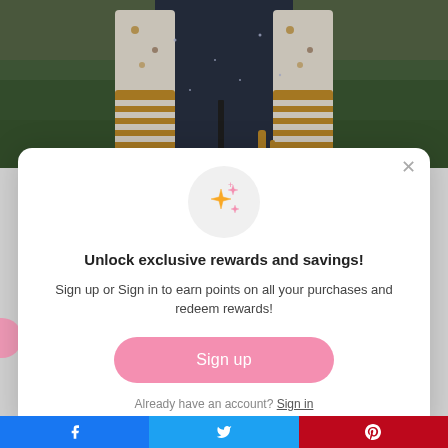[Figure (photo): Outdoor photo of children wearing layered clothing including a dark sparkly dress/romper and patterned fabric with mustard yellow stripes, green grass background]
Unlock exclusive rewards and savings!
Sign up or Sign in to earn points on all your purchases and redeem rewards!
Sign up
Already have an account? Sign in